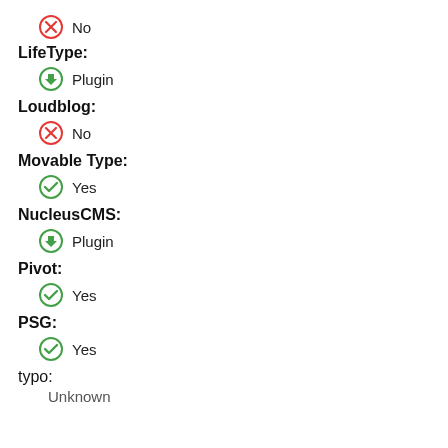No
LifeType:
Plugin
Loudblog:
No
Movable Type:
Yes
NucleusCMS:
Plugin
Pivot:
Yes
PSG:
Yes
typo:
Unknown